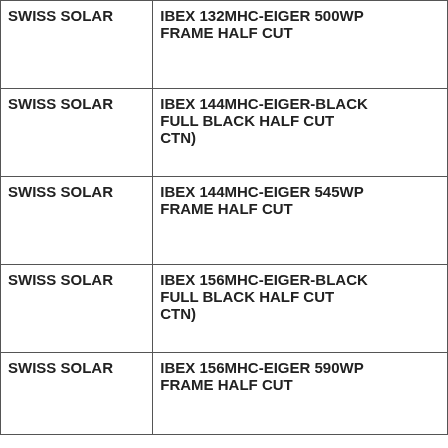| SWISS SOLAR | IBEX 132MHC-EIGER 500WP FRAME HALF CUT |
| SWISS SOLAR | IBEX 144MHC-EIGER-BLACK FULL BLACK HALF CUT CTN) |
| SWISS SOLAR | IBEX 144MHC-EIGER 545WP FRAME HALF CUT |
| SWISS SOLAR | IBEX 156MHC-EIGER-BLACK FULL BLACK HALF CUT CTN) |
| SWISS SOLAR | IBEX 156MHC-EIGER 590WP FRAME HALF CUT |